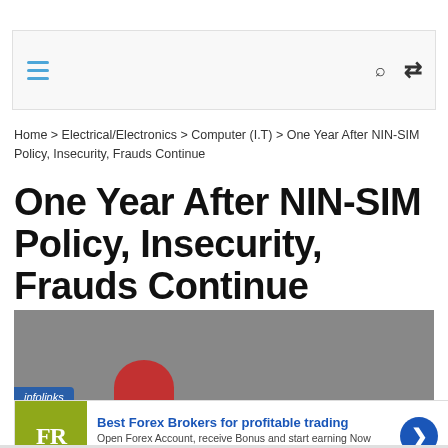Navigation bar with hamburger menu, search, and shuffle icons
Home > Electrical/Electronics > Computer (I.T) > One Year After NIN-SIM Policy, Insecurity, Frauds Continue
One Year After NIN-SIM Policy, Insecurity, Frauds Continue
[Figure (photo): Dark grey background image with an infolinks badge at lower left and a partial red circular shape visible at center-bottom]
[Figure (other): Advertisement banner for forex-ratings.com showing FR logo on olive/yellow-green background, headline 'Best Forex Brokers for profitable trading', subtext 'Open Forex Account, receive Bonus and start earning Now', URL forex-ratings.com, blue circular arrow button on right, close X button top right]